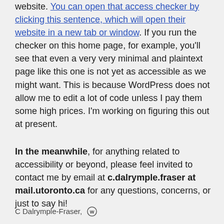accessibility checker available on the ACCCESO website. You can open that access checker by clicking this sentence, which will open their website in a new tab or window. If you run the checker on this home page, for example, you'll see that even a very very minimal and plaintext page like this one is not yet as accessible as we might want. This is because WordPress does not allow me to edit a lot of code unless I pay them some high prices. I'm working on figuring this out at present.
In the meanwhile, for anything related to accessibility or beyond, please feel invited to contact me by email at c.dalrymple.fraser at mail.utoronto.ca for any questions, concerns, or just to say hi!
C Dalrymple-Fraser, [WordPress logo]